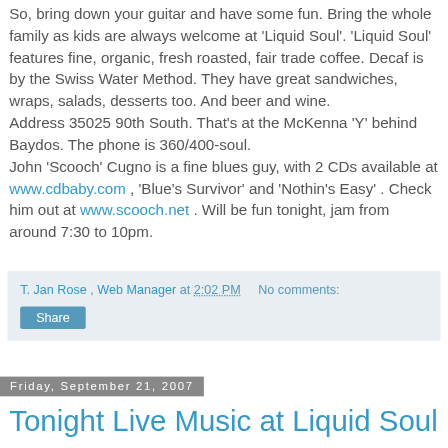So, bring down your guitar and have some fun. Bring the whole family as kids are always welcome at 'Liquid Soul'. 'Liquid Soul' features fine, organic, fresh roasted, fair trade coffee. Decaf is by the Swiss Water Method. They have great sandwiches, wraps, salads, desserts too. And beer and wine.
Address 35025 90th South. That's at the McKenna 'Y' behind Baydos. The phone is 360/400-soul.
John 'Scooch' Cugno is a fine blues guy, with 2 CDs available at www.cdbaby.com , 'Blue's Survivor' and 'Nothin's Easy' . Check him out at www.scooch.net . Will be fun tonight, jam from around 7:30 to 10pm.
T. Jan Rose , Web Manager at 2:02 PM    No comments:
Share
Friday, September 21, 2007
Tonight Live Music at Liquid Soul